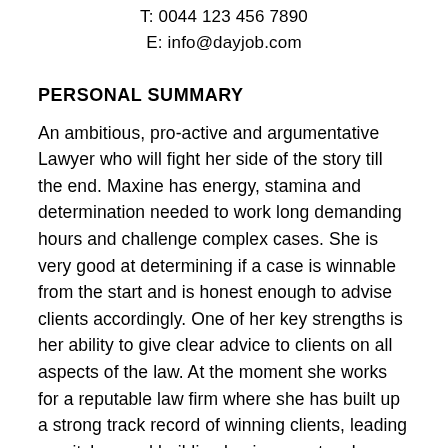T: 0044 123 456 7890
E: info@dayjob.com
PERSONAL SUMMARY
An ambitious, pro-active and argumentative Lawyer who will fight her side of the story till the end. Maxine has energy, stamina and determination needed to work long demanding hours and challenge complex cases. She is very good at determining if a case is winnable from the start and is honest enough to advise clients accordingly. One of her key strengths is her ability to give clear advice to clients on all aspects of the law. At the moment she works for a reputable law firm where she has built up a strong track record of winning clients, leading on pitches and building business networks. Through her career she has represented individuals,